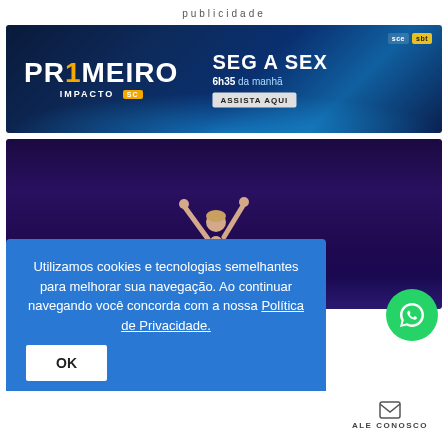publicidade
[Figure (photo): Banner advertisement for 'Primeiro Impacto SC' TV show on SBT/SCE. Dark blue background with glowing light effect. Text: PRIMEIRO IMPACTO SC, SEG A SEX, 6h35 da manhã, ASSISTA AQUI. Logos for SCE and SBT in top right.]
[Figure (photo): Photo of a dancer on stage with arms raised, dark purple/blue stage lighting background.]
Utilizamos cookies e tecnologias semelhantes para melhorar sua navegação. Ao continuar navegando você concorda com a nossa Política de Privacidade.
OK
ALE CONOSCO